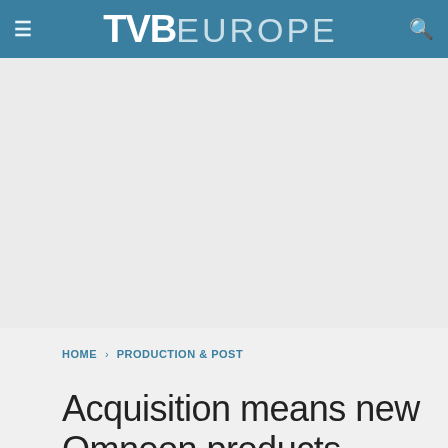TVB EUROPE
[Figure (other): Advertisement area / blank space below header]
HOME › PRODUCTION & POST
Acquisition means new Omneon products